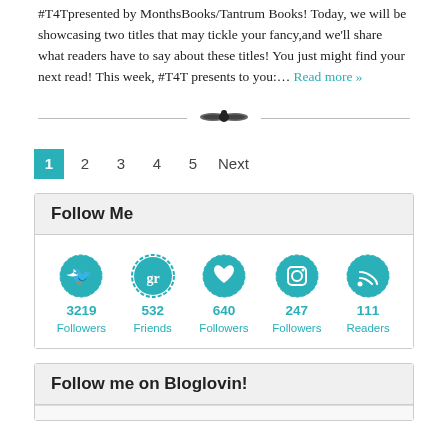#T4Tpresented by MonthsBooks/Tantrum Books! Today, we will be showcasing two titles that may tickle your fancy,and we'll share what readers have to say about these titles! You just might find your next read! This week, #T4T presents to you:… Read more »
[Figure (illustration): Decorative horizontal divider with ornamental bird/floral motif in the center and lines extending on both sides]
1 2 3 4 5 Next (pagination)
Follow Me
[Figure (infographic): Social media follow counts: Twitter 3219 Followers, Goodreads 532 Friends, Heart/Bloglovin 640 Followers, Instagram 247 Followers, RSS 111 Readers]
Follow me on Bloglovin!